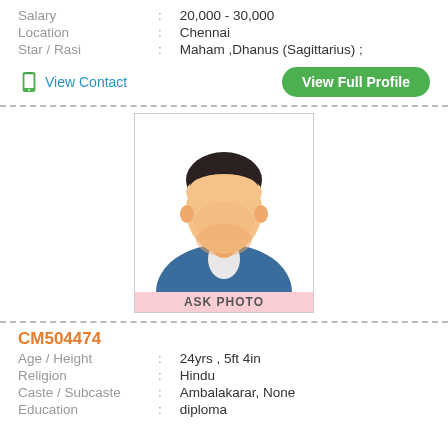Salary : 20,000 - 30,000
Location : Chennai
Star / Rasi : Maham ,Dhanus (Sagittarius) ;
View Contact
View Full Profile
[Figure (illustration): Generic male avatar/placeholder profile photo with ASK PHOTO label at bottom]
CM504474
Age / Height : 24yrs , 5ft 4in
Religion : Hindu
Caste / Subcaste : Ambalakarar, None
Education : diploma